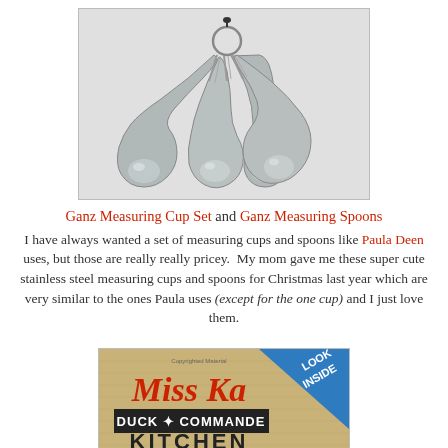[Figure (photo): Stainless steel measuring spoons set hung together on a ring, arranged in a fan shape, set of 4 spoons with ornate handles on a light gray background]
Ganz Measuring Cup Set and Ganz Measuring Spoons
I have always wanted a set of measuring cups and spoons like Paula Deen uses, but those are really really pricey.  My mom gave me these super cute stainless steel measuring cups and spoons for Christmas last year which are very similar to the ones Paula uses (except for the one cup) and I just love them.
[Figure (photo): Book cover for 'Miss Kay's Duck Commander Kitchen' with a blue corner banner reading 'LOOK INSIDE']